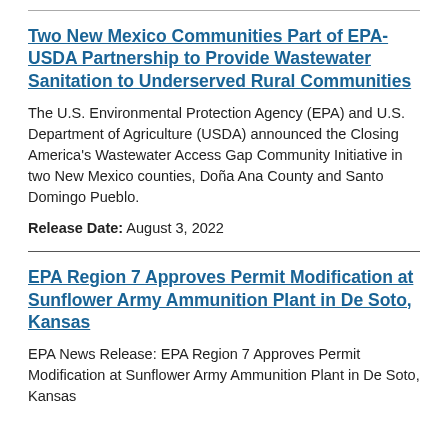Two New Mexico Communities Part of EPA-USDA Partnership to Provide Wastewater Sanitation to Underserved Rural Communities
The U.S. Environmental Protection Agency (EPA) and U.S. Department of Agriculture (USDA) announced the Closing America's Wastewater Access Gap Community Initiative in two New Mexico counties, Doña Ana County and Santo Domingo Pueblo.
Release Date: August 3, 2022
EPA Region 7 Approves Permit Modification at Sunflower Army Ammunition Plant in De Soto, Kansas
EPA News Release: EPA Region 7 Approves Permit Modification at Sunflower Army Ammunition Plant in De Soto, Kansas